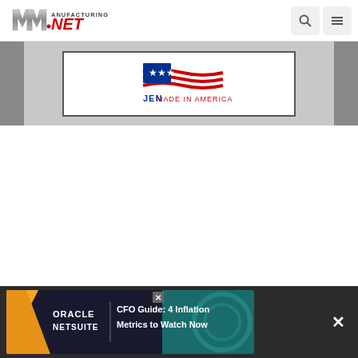Manufacturing.net - navbar with logo, search and menu icons
[Figure (logo): JEN Made in America logo inside a bordered advertisement box, set against a gray background]
[Figure (infographic): Oracle NetSuite advertisement banner: CFO Guide: 4 Inflation Metrics to Watch Now]